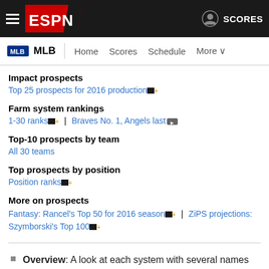ESPN MLB - Home Scores Schedule More
Impact prospects
Top 25 prospects for 2016 production [Insider]
Farm system rankings
1-30 ranks [Insider] | Braves No. 1, Angels last [Video]
Top-10 prospects by team
All 30 teams
Top prospects by position
Position ranks [Insider]
More on prospects
Fantasy: Rancel's Top 50 for 2016 season [Insider] | ZiPS projections: Szymborski's Top 100 [Insider]
Overview: A look at each system with several names well beyond the top 10